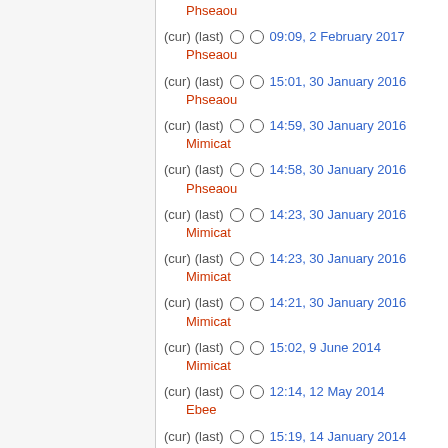Phseaou
(cur) (last) 09:09, 2 February 2017 Phseaou
(cur) (last) 15:01, 30 January 2016 Phseaou
(cur) (last) 14:59, 30 January 2016 Mimicat
(cur) (last) 14:58, 30 January 2016 Phseaou
(cur) (last) 14:23, 30 January 2016 Mimicat
(cur) (last) 14:23, 30 January 2016 Mimicat
(cur) (last) 14:21, 30 January 2016 Mimicat
(cur) (last) 15:02, 9 June 2014 Mimicat
(cur) (last) 12:14, 12 May 2014 Ebee
(cur) (last) 15:19, 14 January 2014 Phseaou